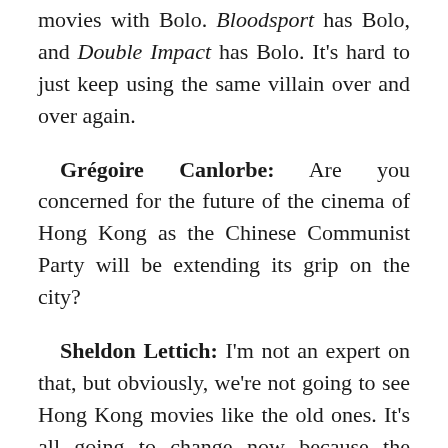movies with Bolo. Bloodsport has Bolo, and Double Impact has Bolo. It's hard to just keep using the same villain over and over again.
Grégoire Canlorbe: Are you concerned for the future of the cinema of Hong Kong as the Chinese Communist Party will be extending its grip on the city?
Sheldon Lettich: I'm not an expert on that, but obviously, we're not going to see Hong Kong movies like the old ones. It's all going to change now because the Chinese have taken over. So there are